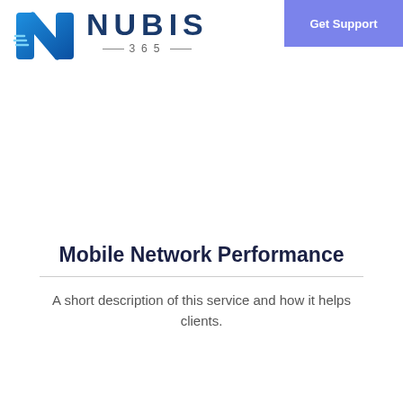[Figure (logo): Nubis 365 logo with stylized N icon in blue gradient and brand name NUBIS 365 in dark blue lettering]
[Figure (other): Get Support button in purple/periwinkle blue color in top right corner]
Mobile Network Performance
A short description of this service and how it helps clients.